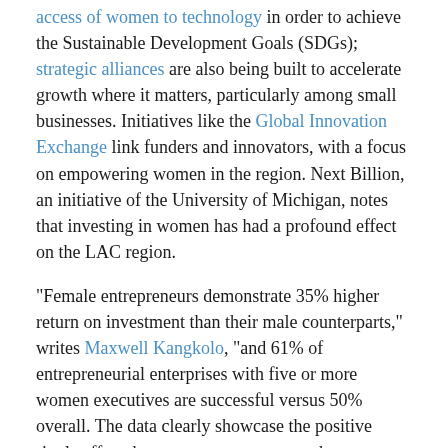access of women to technology in order to achieve the Sustainable Development Goals (SDGs); strategic alliances are also being built to accelerate growth where it matters, particularly among small businesses. Initiatives like the Global Innovation Exchange link funders and innovators, with a focus on empowering women in the region. Next Billion, an initiative of the University of Michigan, notes that investing in women has had a profound effect on the LAC region.
"Female entrepreneurs demonstrate 35% higher return on investment than their male counterparts," writes Maxwell Kangkolo, "and 61% of entrepreneurial enterprises with five or more women executives are successful versus 50% overall. The data clearly showcase the positive ripple effect that women entrepreneurs have on their local and regional communities." Innovation in the LAC region is a powerful force among its female entrepreneurs.
"There's a gap for innovation, and initiatives are under